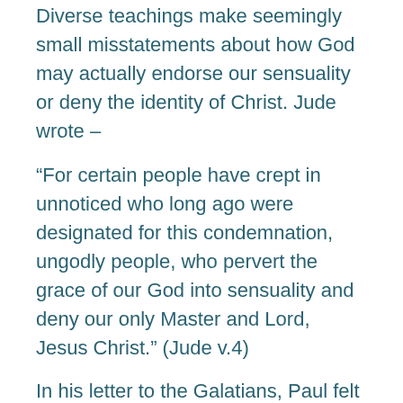Diverse teachings make seemingly small misstatements about how God may actually endorse our sensuality or deny the identity of Christ. Jude wrote –
“For certain people have crept in unnoticed who long ago were designated for this condemnation, ungodly people, who pervert the grace of our God into sensuality and deny our only Master and Lord, Jesus Christ.” (Jude v.4)
In his letter to the Galatians, Paul felt